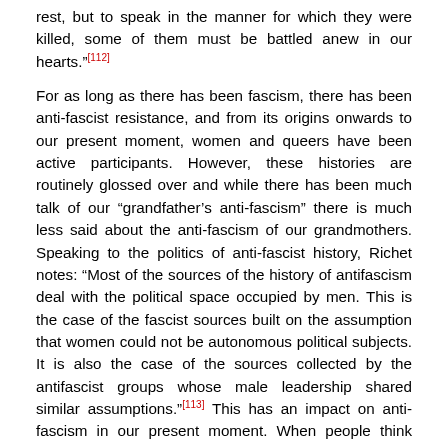rest, but to speak in the manner for which they were killed, some of them must be battled anew in our hearts."[112]
For as long as there has been fascism, there has been anti-fascist resistance, and from its origins onwards to our present moment, women and queers have been active participants. However, these histories are routinely glossed over and while there has been much talk of our "grandfather's anti-fascism" there is much less said about the anti-fascism of our grandmothers. Speaking to the politics of anti-fascist history, Richet notes: "Most of the sources of the history of antifascism deal with the political space occupied by men. This is the case of the fascist sources built on the assumption that women could not be autonomous political subjects. It is also the case of the sources collected by the antifascist groups whose male leadership shared similar assumptions."[113] This has an impact on anti-fascism in our present moment. When people think about or hear the term anti-fascist, the image most likely to pop into their head is not CeCe McDonald{3} or an armed partisan women, but a generic anti-racist skinhead dude or perhaps the anti-fascist man as depicted in classic propaganda posters with rifle, sickle, and hammer in hand. Against such trends, this section considers the gendering of history and explores women's participation in antifascist resistance during the first half of the twentieth century. The intention is not to provide an exhaustive account, but to